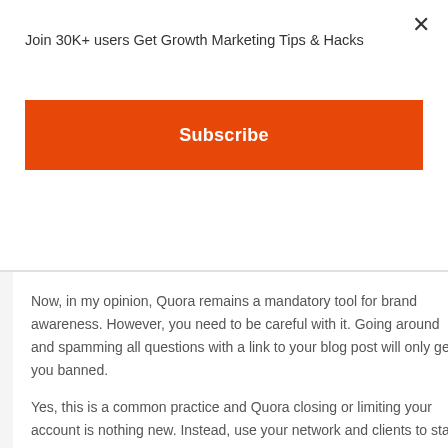Join 30K+ users Get Growth Marketing Tips & Hacks
Subscribe
Now, in my opinion, Quora remains a mandatory tool for brand awareness. However, you need to be careful with it. Going around and spamming all questions with a link to your blog post will only get you banned.
Yes, this is a common practice and Quora closing or limiting your account is nothing new. Instead, use your network and clients to start talking about your product or service. Alternatively, create highly-insightful posts